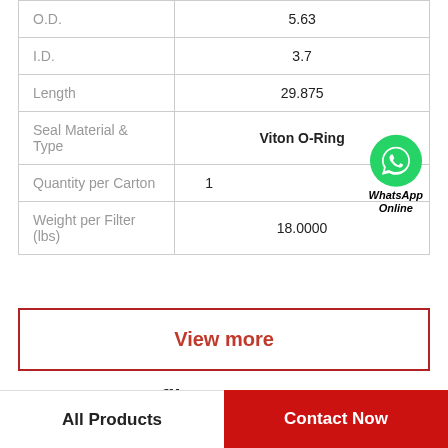| Property | Value |
| --- | --- |
| O.D. | 5.63 |
| I.D. | 3.7 |
| Length | 29.875 |
| Seal Material & Type | Viton O-Ring |
| Quantity per Carton | 1 |
| Weight per Filter (lbs) | 18.0000 |
[Figure (logo): WhatsApp green circle icon with phone handset, labeled 'WhatsApp Online' in bold italic]
View more
Company Profile
All Products
Contact Now